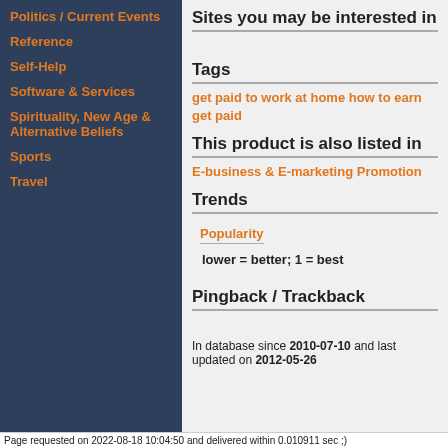Politics / Current Events
Reference
Self-Help
Software & Services
Spirituality, New Age & Alternative Beliefs
Sports
Travel
Sites you may be interested in
Tags
get paid to work at home how to earn get paid
This product is also listed in
E-business & E-marketing Promotion
Trends
Popularity
lower = better; 1 = best
Pingback / Trackback
In database since 2010-07-10 and last updated on 2012-05-26
Page requested on 2022-08-18 10:04:50 and delivered within 0.010911 sec ;)